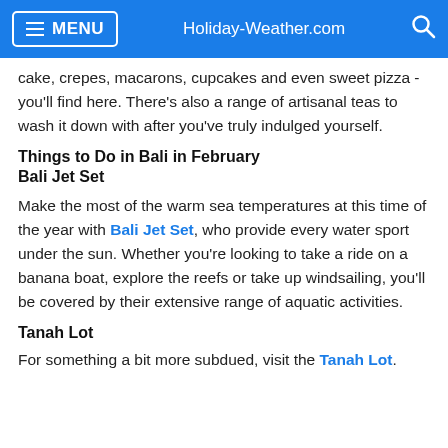MENU  Holiday-Weather.com  [search]
cake, crepes, macarons, cupcakes and even sweet pizza - you'll find here. There's also a range of artisanal teas to wash it down with after you've truly indulged yourself.
Things to Do in Bali in February
Bali Jet Set
Make the most of the warm sea temperatures at this time of the year with Bali Jet Set, who provide every water sport under the sun. Whether you're looking to take a ride on a banana boat, explore the reefs or take up windsailing, you'll be covered by their extensive range of aquatic activities.
Tanah Lot
For something a bit more subdued, visit the Tanah Lot.